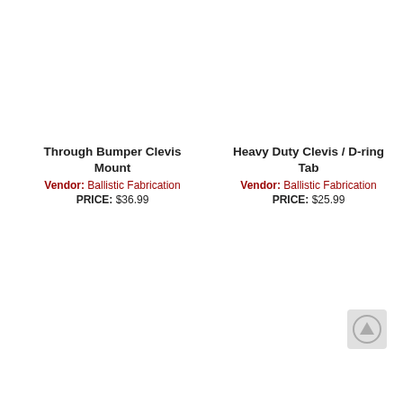Through Bumper Clevis Mount
Vendor: Ballistic Fabrication PRICE: $36.99
Heavy Duty Clevis / D-ring Tab
Vendor: Ballistic Fabrication PRICE: $25.99
[Figure (other): Back to top arrow button icon]